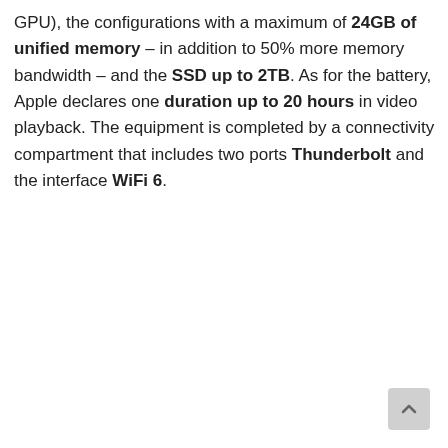GPU), the configurations with a maximum of 24GB of unified memory – in addition to 50% more memory bandwidth – and the SSD up to 2TB. As for the battery, Apple declares one duration up to 20 hours in video playback. The equipment is completed by a connectivity compartment that includes two ports Thunderbolt and the interface WiFi 6.